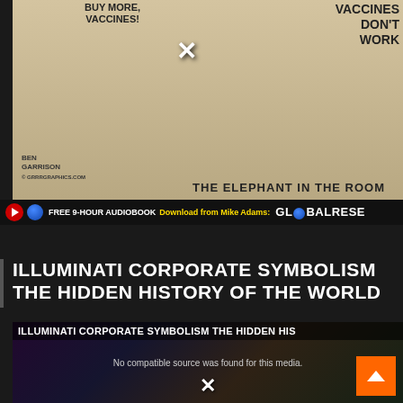[Figure (illustration): Political cartoon by Ben Garrison titled 'The Elephant in the Room' showing two figures labeled 'Gates' and 'Fauci' at a table labeled 'Variants' with speech bubble 'Buy More Vaccines!' and text 'Vaccines Don't Work'. A large elephant with a syringe is depicted. An X mark overlay is shown.]
FREE 9-HOUR AUDIOBOOK Download from Mike Adams: GLOBALRESE
ILLUMINATI CORPORATE SYMBOLISM THE HIDDEN HISTORY OF THE WORLD
[Figure (screenshot): Video player showing 'ILLUMINATI CORPORATE SYMBOLISM THE HIDDEN HIS' as title overlay, with error message 'No compatible source was found for this media.' over a colorful artistic background featuring an eye and figures. An X mark and orange back-to-top button are visible.]